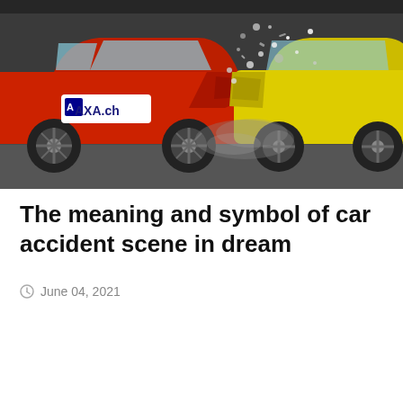[Figure (photo): Photo of a car crash scene showing a red car with an AXA.ch logo sticker colliding head-on with a yellow car, debris flying, dust in the air, dramatic impact shot.]
The meaning and symbol of car accident scene in dream
June 04, 2021